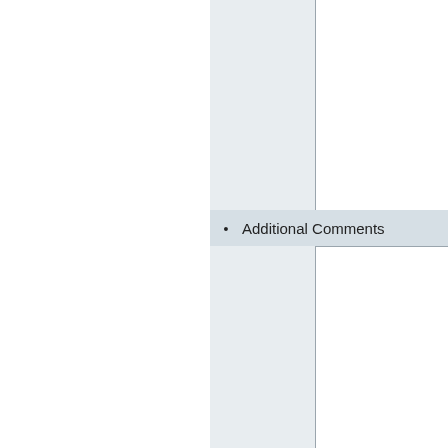[Figure (screenshot): Partial view of a web form showing a text input area at the top (partially visible), an 'Additional Comments' field label with bullet point and a large textarea, a dollar amount '$0' with bullet point, a 'Total' label, and a 'Submit' button with bullet point, all on a light blue-grey background panel.]
Additional Comments
$0
Total
Submit